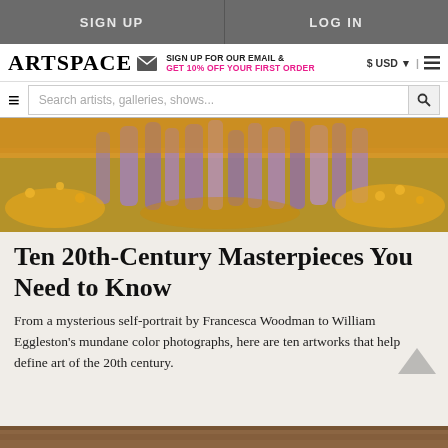SIGN UP | LOG IN
ARTSPACE — SIGN UP FOR OUR EMAIL & GET 10% OFF YOUR FIRST ORDER — $ USD | cart
Search artists, galleries, shows...
[Figure (photo): Wildflower field with purple lupines and yellow flowers, panoramic banner image]
Ten 20th-Century Masterpieces You Need to Know
From a mysterious self-portrait by Francesca Woodman to William Eggleston's mundane color photographs, here are ten artworks that help define art of the 20th century.
[Figure (photo): Bottom strip of article image, partially visible]